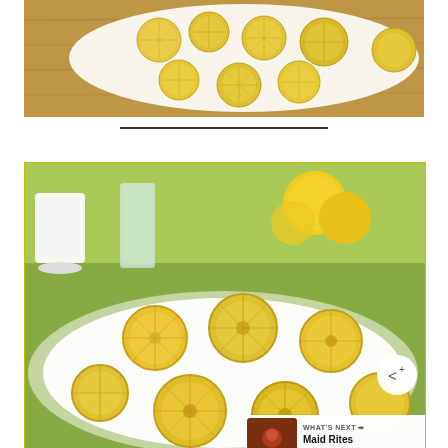[Figure (photo): Top banner photo: candied lemon slices arranged on a white plate on a wooden board, with 'THE SLOW ROASTED ITALIAN' logo text overlaid]
[Figure (photo): Card photo: candied lemon slices on a white plate with lemons and a glass of lemonade in the background, with share button overlay and 'WHAT'S NEXT → Maid Rites Loose Meat...' widget]